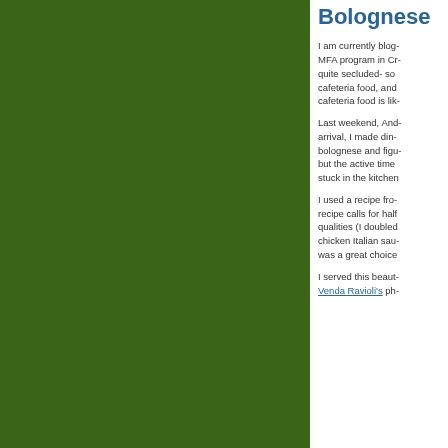[Figure (photo): Green background image occupying the left portion of the page]
Bolognese
I am currently blog- MFA program in Cr- quite secluded- so cafeteria food, and cafeteria food is lik-
Last weekend, And- arrival, I made din- bolognese and figu- but the active time stuck in the kitchen
I used a recipe fro- recipe calls for half qualities (I doubled chicken Italian sau- was a great choice
I served this beaut- Venda Ravioli's ph-